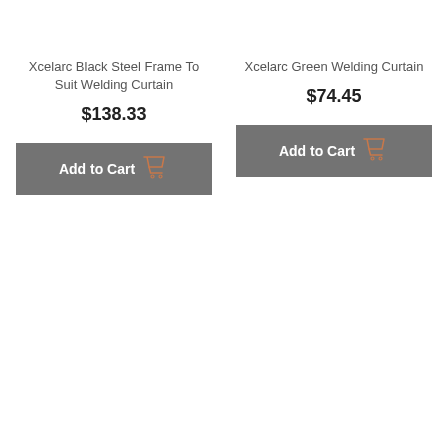Xcelarc Black Steel Frame To Suit Welding Curtain
$138.33
Add to Cart
Xcelarc Green Welding Curtain
$74.45
Add to Cart